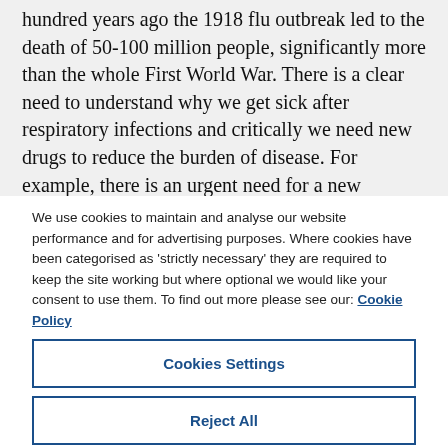hundred years ago the 1918 flu outbreak led to the death of 50-100 million people, significantly more than the whole First World War. There is a clear need to understand why we get sick after respiratory infections and critically we need new drugs to reduce the burden of disease. For example, there is an urgent need for a new influenza
We use cookies to maintain and analyse our website performance and for advertising purposes. Where cookies have been categorised as 'strictly necessary' they are required to keep the site working but where optional we would like your consent to use them. To find out more please see our: Cookie Policy
Cookies Settings
Reject All
Accept All Cookies